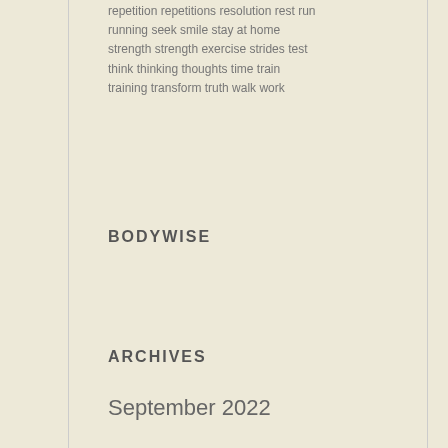repetition repetitions resolution rest run running seek smile stay at home strength strength exercise strides test think thinking thoughts time train training transform truth walk work
BODYWISE
ARCHIVES
September 2022